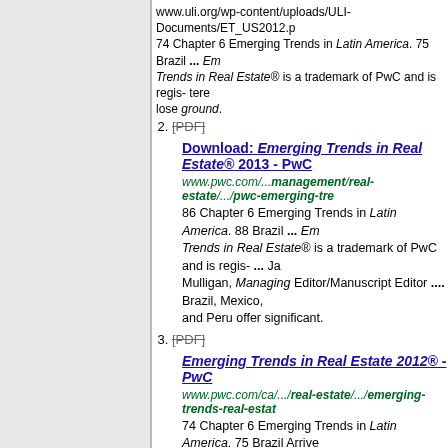www.uli.org/wp-content/uploads/ULI-Documents/ET_US2012.pd 74 Chapter 6 Emerging Trends in Latin America. 75 Brazil ... Emerging Trends in Real Estate® is a trademark of PwC and is regis- tered. lose ground.
[PDF]
Download: Emerging Trends in Real Estate® 2013 - PwC
www.pwc.com/.../management/real-estate/.../pwc-emerging-trends- 86 Chapter 6 Emerging Trends in Latin America. 88 Brazil ... Emerging Trends in Real Estate® is a trademark of PwC and is regis- ... Ja Mulligan, Managing Editor/Manuscript Editor .... Brazil, Mexico, and Peru offer significant.
[PDF]
Emerging Trends in Real Estate 2012® - PwC
www.pwc.com/ca/.../real-estate/.../emerging-trends-real-estate 74 Chapter 6 Emerging Trends in Latin America. 75 Brazil Arriving Emerging Trends in Real Estate® is a trademark of PwC and is the United ...
Colombia - The New York Times
topics.nytimes.com/top/news/international/.../colombia/index.ht Colombian officials arrest four men in killing of American antidrug James Watson; ... Big Deal column; developers and real estate working to build ... Europe and South America; members are sus planning coordinated ..... Resources and Trends; U.S. Department ... Manage My Account. You've visited this page 3 times. Last visit: 2/17/13